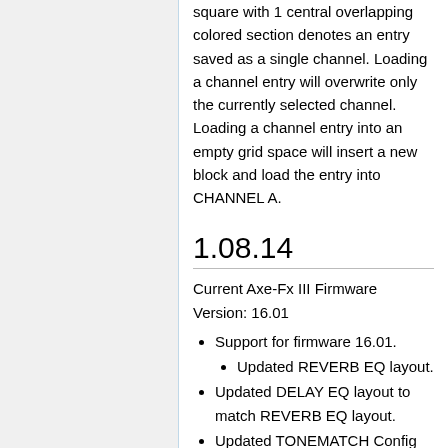square with 1 central overlapping colored section denotes an entry saved as a single channel. Loading a channel entry will overwrite only the currently selected channel. Loading a channel entry into an empty grid space will insert a new block and load the entry into CHANNEL A.
1.08.14
Current Axe-Fx III Firmware Version: 16.01
Support for firmware 16.01.
Updated REVERB EQ layout.
Updated DELAY EQ layout to match REVERB EQ layout.
Updated TONEMATCH Config graph.
Corrected the AMP block's Speaker